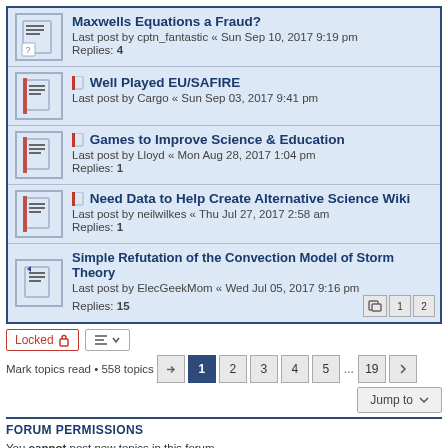Maxwells Equations a Fraud? Last post by cptn_fantastic « Sun Sep 10, 2017 9:19 pm Replies: 4
Well Played EU/SAFIRE Last post by Cargo « Sun Sep 03, 2017 9:41 pm
Games to Improve Science & Education Last post by Lloyd « Mon Aug 28, 2017 1:04 pm Replies: 1
Need Data to Help Create Alternative Science Wiki Last post by neilwilkes « Thu Jul 27, 2017 2:58 am Replies: 1
Simple Refutation of the Convection Model of Storm Theory Last post by ElecGeekMom « Wed Jul 05, 2017 9:16 pm Replies: 15
Locked • Mark topics read • 558 topics • Pages: 1 2 3 4 5 ... 19
FORUM PERMISSIONS
You cannot post new topics in this forum
You cannot reply to topics in this forum
You cannot edit your posts in this forum
You cannot delete your posts in this forum
You cannot post attachments in this forum